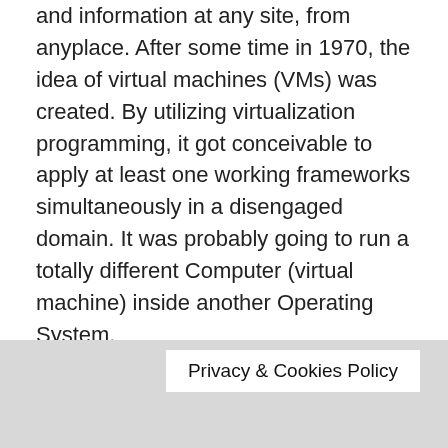and information at any site, from anyplace. After some time in 1970, the idea of virtual machines (VMs) was created. By utilizing virtualization programming, it got conceivable to apply at least one working frameworks simultaneously in a disengaged domain. It was probably going to run a totally different Computer (virtual machine) inside another Operating System.
During the 1980s and 1990s, the act of walled garden internet figuring to a great extent commanded by America Online and CompuServe in the United States was on the ascent. Furthermore, in the late 1990s and mid-2000s, denoted a move in how individuals jumped on the web. This transformational change prompted the development of cloud administrations, with email
Privacy & Cookies Policy